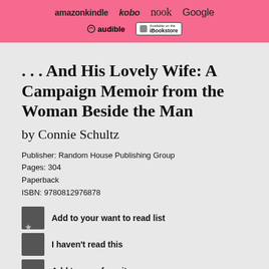[Figure (other): Pink banner with ebook retailer logos: amazonkindle, kobo, nook, Google, audible, iBookstore]
. . . And His Lovely Wife: A Campaign Memoir from the Woman Beside the Man
by Connie Schultz
Publisher: Random House Publishing Group
Pages: 304
Paperback
ISBN: 9780812976878
Add to your want to read list
I haven't read this
Add to your favorites